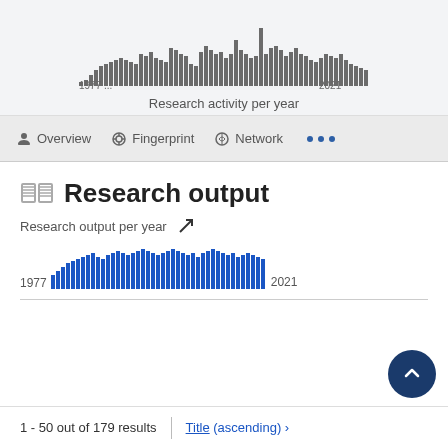[Figure (histogram): Research activity per year]
Research activity per year
Overview   Fingerprint   Network   •••
Research output
Research output per year
[Figure (histogram): Research output per year]
1 - 50 out of 179 results
Title (ascending) ›